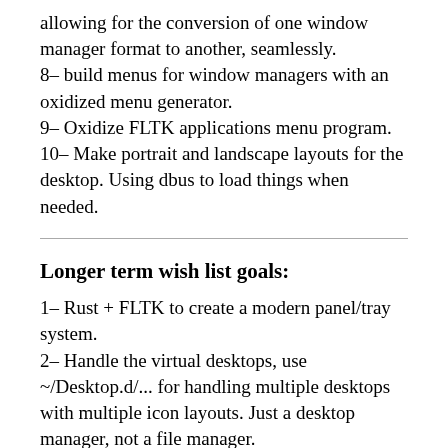allowing for the conversion of one window manager format to another, seamlessly.
8– build menus for window managers with an oxidized menu generator.
9– Oxidize FLTK applications menu program.
10– Make portrait and landscape layouts for the desktop. Using dbus to load things when needed.
Longer term wish list goals:
1– Rust + FLTK to create a modern panel/tray system.
2– Handle the virtual desktops, use ~/Desktop.d/... for handling multiple desktops with multiple icon layouts. Just a desktop manager, not a file manager.
3– Build a desktop software manager desktop.